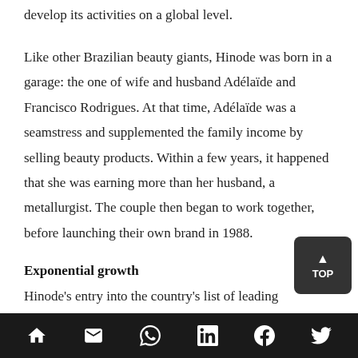develop its activities on a global level.
Like other Brazilian beauty giants, Hinode was born in a garage: the one of wife and husband Adélaïde and Francisco Rodrigues. At that time, Adélaïde was a seamstress and supplemented the family income by selling beauty products. Within a few years, it happened that she was earning more than her husband, a metallurgist. The couple then began to work together, before launching their own brand in 1988.
Exponential growth
Hinode's entry into the country's list of leading cosmetics companies has its roots in 2008, when the company - which then had an annual turnover
Navigation bar with home, mail, WhatsApp, LinkedIn, Facebook, Twitter icons